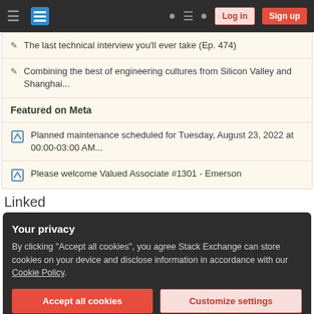Stack Exchange navigation bar with hamburger menu, logo, help, chat, search icons, Log in and Sign up buttons
The last technical interview you'll ever take (Ep. 474)
Combining the best of engineering cultures from Silicon Valley and Shanghai...
Featured on Meta
Planned maintenance scheduled for Tuesday, August 23, 2022 at 00:00-03:00 AM...
Please welcome Valued Associate #1301 - Emerson
Linked
Your privacy
By clicking "Accept all cookies", you agree Stack Exchange can store cookies on your device and disclose information in accordance with our Cookie Policy.
[Accept all cookies] [Customize settings]
Op amp with both negative and positive feedback